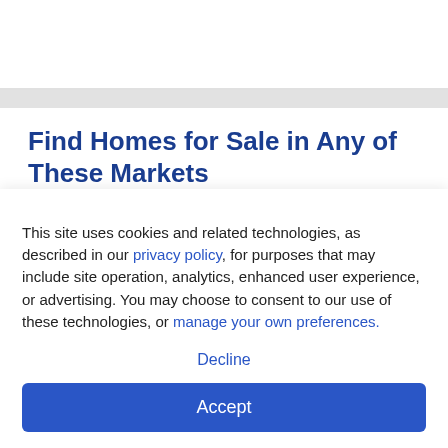Find Homes for Sale in Any of These Markets
Central Port...
Chesapeake
East Norfolk
Hampton
Newport News
Norfolk
North Norfolk
Northeast S...
Northeast Vir...
This site uses cookies and related technologies, as described in our privacy policy, for purposes that may include site operation, analytics, enhanced user experience, or advertising. You may choose to consent to our use of these technologies, or manage your own preferences.
Decline
Accept